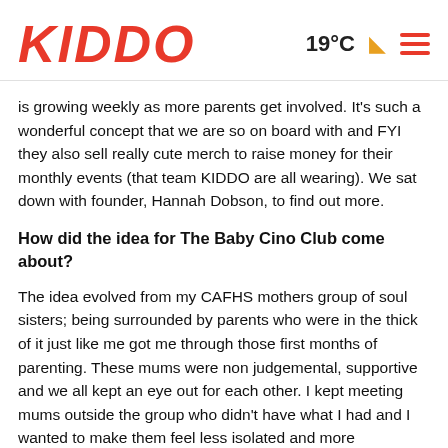KIDDO | 19°C ☽ ☰
is growing weekly as more parents get involved. It's such a wonderful concept that we are so on board with and FYI they also sell really cute merch to raise money for their monthly events (that team KIDDO are all wearing). We sat down with founder, Hannah Dobson, to find out more.
How did the idea for The Baby Cino Club come about?
The idea evolved from my CAFHS mothers group of soul sisters; being surrounded by parents who were in the thick of it just like me got me through those first months of parenting. These mums were non judgemental, supportive and we all kept an eye out for each other. I kept meeting mums outside the group who didn't have what I had and I wanted to make them feel less isolated and more connected. Connection exists via social media, but it's lacking the core needs for humans; we need a real person, a sense of humour, an understanding soul to remind you